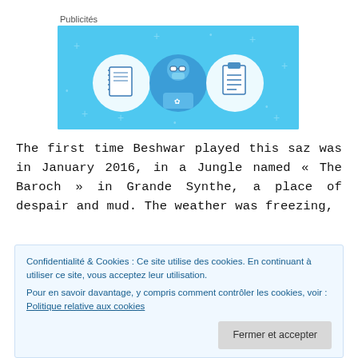Publicités
[Figure (illustration): Advertisement banner with light blue background showing three circular icons: a notebook, a person with glasses, and a clipboard/list, styled as flat design illustration]
The first time Beshwar played this saz was in January 2016, in a Jungle named « The Baroch » in Grande Synthe, a place of despair and mud. The weather was freezing,
Confidentialité & Cookies : Ce site utilise des cookies. En continuant à utiliser ce site, vous acceptez leur utilisation.
Pour en savoir davantage, y compris comment contrôler les cookies, voir : Politique relative aux cookies
Fermer et accepter
as he had the saz, Beshwar organized musical moments in